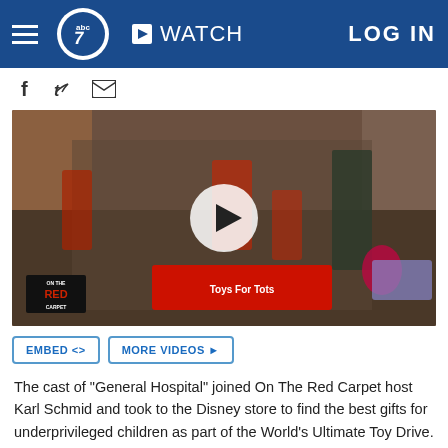abc7 | WATCH | LOG IN
[Figure (screenshot): ABC7 navigation header with hamburger menu, abc7 logo, WATCH button, and LOG IN link on dark blue background]
[Figure (photo): Group photo of the cast of General Hospital with On The Red Carpet host Karl Schmid at a Disney store for Toys for Tots event, with a video play button overlay]
EMBED <> MORE VIDEOS ▶
The cast of "General Hospital" joined On The Red Carpet host Karl Schmid and took to the Disney store to find the best gifts for underprivileged children as part of the World's Ultimate Toy Drive.